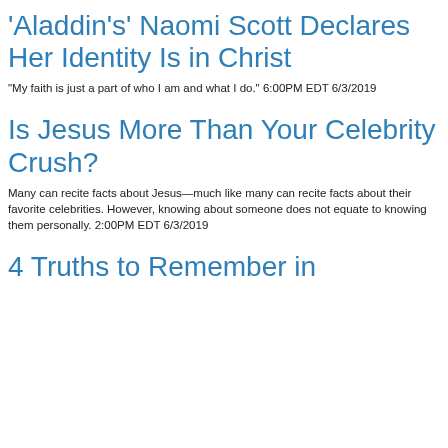'Aladdin's' Naomi Scott Declares Her Identity Is in Christ
"My faith is just a part of who I am and what I do." 6:00PM EDT 6/3/2019
Is Jesus More Than Your Celebrity Crush?
Many can recite facts about Jesus—much like many can recite facts about their favorite celebrities. However, knowing about someone does not equate to knowing them personally. 2:00PM EDT 6/3/2019
4 Truths to Remember in